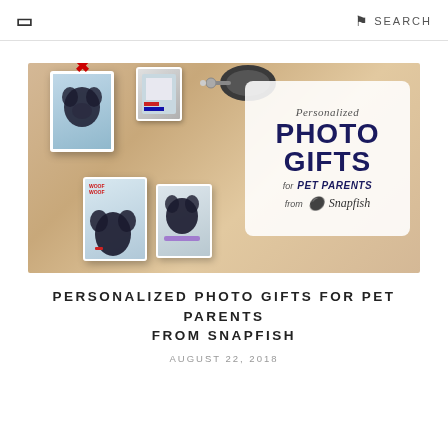☰  SEARCH
[Figure (photo): Promotional photo showing personalized photo gifts for pet parents from Snapfish on a wooden surface — includes a dog photo ornament with red ribbon, keychain, wallet cards with dog photos, and a promotional sign reading 'Personalized PHOTO GIFTS for PET PARENTS from Snapfish']
PERSONALIZED PHOTO GIFTS FOR PET PARENTS FROM SNAPFISH
AUGUST 22, 2018